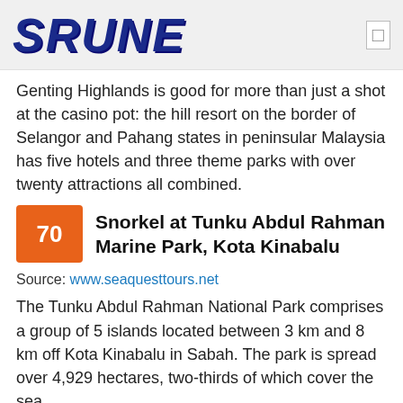SRUNE
Genting Highlands is good for more than just a shot at the casino pot: the hill resort on the border of Selangor and Pahang states in peninsular Malaysia has five hotels and three theme parks with over twenty attractions all combined.
70 Snorkel at Tunku Abdul Rahman Marine Park, Kota Kinabalu
Source: www.seaquesttours.net
The Tunku Abdul Rahman National Park comprises a group of 5 islands located between 3 km and 8 km off Kota Kinabalu in Sabah. The park is spread over 4,929 hectares, two-thirds of which cover the sea.